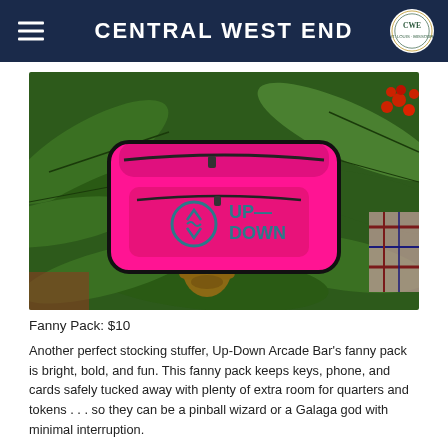CENTRAL WEST END
[Figure (photo): A bright pink fanny pack with the Up-Down logo (circle with arrows and UP-DOWN text) resting on green pine branches with red berries and a pine cone, with a plaid ribbon in the background.]
Fanny Pack: $10
Another perfect stocking stuffer, Up-Down Arcade Bar's fanny pack is bright, bold, and fun. This fanny pack keeps keys, phone, and cards safely tucked away with plenty of extra room for quarters and tokens . . . so they can be a pinball wizard or a Galaga god with minimal interruption.